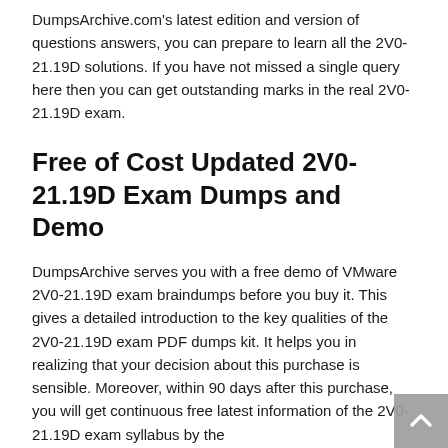DumpsArchive.com's latest edition and version of questions answers, you can prepare to learn all the 2V0-21.19D solutions. If you have not missed a single query here then you can get outstanding marks in the real 2V0-21.19D exam.
Free of Cost Updated 2V0-21.19D Exam Dumps and Demo
DumpsArchive serves you with a free demo of VMware 2V0-21.19D exam braindumps before you buy it. This gives a detailed introduction to the key qualities of the 2V0-21.19D exam PDF dumps kit. It helps you in realizing that your decision about this purchase is sensible. Moreover, within 90 days after this purchase, you will get continuous free latest information of the 2V0-21.19D exam syllabus by the